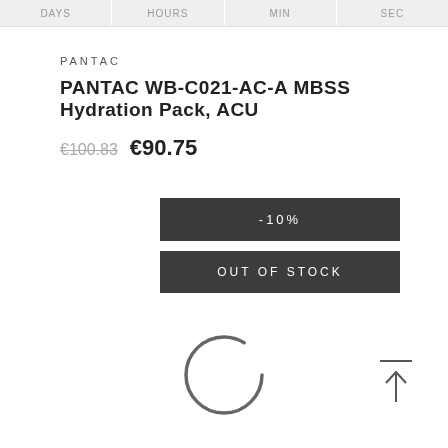DAYS  HOURS  MIN  SEC
PANTAC
PANTAC WB-C021-AC-A MBSS Hydration Pack, ACU
€100.83  €90.75
-10%
OUT OF STOCK
[Figure (other): Loading spinner (partial circle arc)]
[Figure (other): Back to top arrow button with horizontal bar above upward arrow]